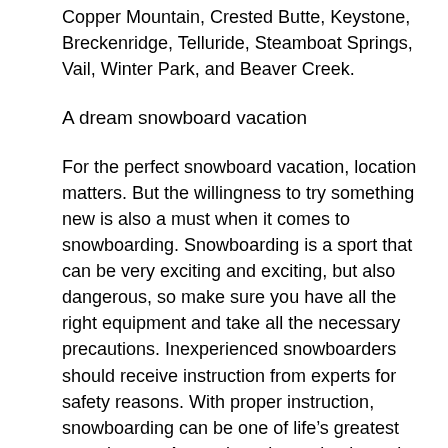Copper Mountain, Crested Butte, Keystone, Breckenridge, Telluride, Steamboat Springs, Vail, Winter Park, and Beaver Creek.
A dream snowboard vacation
For the perfect snowboard vacation, location matters. But the willingness to try something new is also a must when it comes to snowboarding. Snowboarding is a sport that can be very exciting and exciting, but also dangerous, so make sure you have all the right equipment and take all the necessary precautions. Inexperienced snowboarders should receive instruction from experts for safety reasons. With proper instruction, snowboarding can be one of life’s greatest experiences. A snowboard vacation is not just a trip to a snowy land, but a real adventure.
Consider where you’re going and make sure you pack all the gear you need for your dream snowboarding vacation. Proper planning is a must, so try to leave